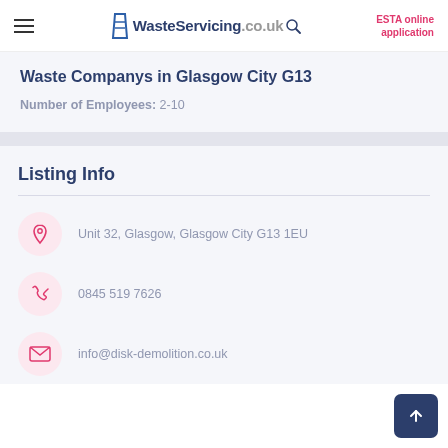WasteServicing.co.uk | ESTA online application
Waste Companys in Glasgow City G13
Number of Employees: 2-10
Listing Info
Unit 32, Glasgow, Glasgow City G13 1EU
0845 519 7626
info@disk-demolition.co.uk